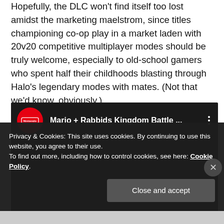Hopefully, the DLC won't find itself too lost amidst the marketing maelstrom, since titles championing co-op play in a market laden with 20v20 competitive multiplayer modes should be truly welcome, especially to old-school gamers who spent half their childhoods blasting through Halo's legendary modes with mates. (Not that we'd know, obviously.)
[Figure (screenshot): Embedded YouTube video player showing 'Mario + Rabbids Kingdom Battle ...' with Nintendo channel logo (red circle with Nintendo text), three-dot menu icon, and dark/black video body area.]
Privacy & Cookies: This site uses cookies. By continuing to use this website, you agree to their use.
To find out more, including how to control cookies, see here: Cookie Policy
Close and accept